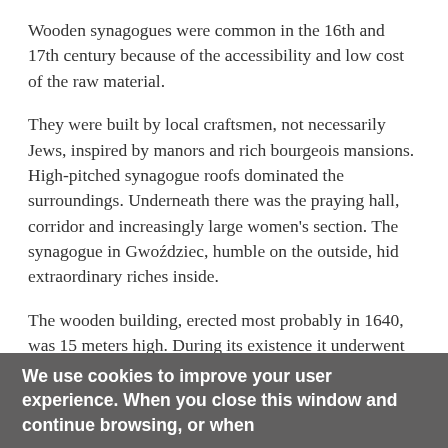Wooden synagogues were common in the 16th and 17th century because of the accessibility and low cost of the raw material.
They were built by local craftsmen, not necessarily Jews, inspired by manors and rich bourgeois mansions. High-pitched synagogue roofs dominated the surroundings. Underneath there was the praying hall, corridor and increasingly large women's section. The synagogue in Gwoździec, humble on the outside, hid extraordinary riches inside.
The wooden building, erected most probably in 1640, was 15 meters high. During its existence it underwent numerous modifications. For example, the southwest  brick wing was added later to be used as a children's study room (kheder) and a heated praying place during winter. The main hall reserved for men was an octagonal copula decorated with folded and biblical ...
We use cookies to improve your user experience. When you close this window and continue browsing, or when